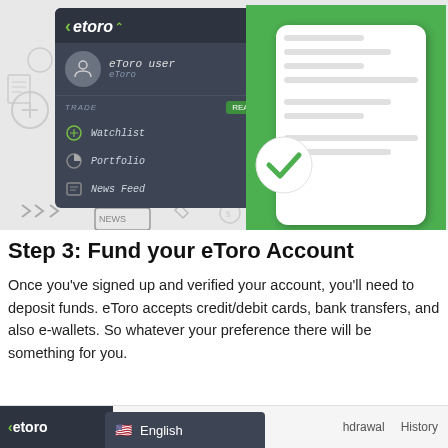[Figure (screenshot): Two screenshots side by side: left shows eToro app interface with user profile, Watchlist, Portfolio, and News Feed menu items; right shows a green verification screen with a white phone mockup showing a form and a checkmark badge.]
Step 3: Fund your eToro Account
Once you've signed up and verified your account, you'll need to deposit funds. eToro accepts credit/debit cards, bank transfers, and also e-wallets. So whatever your preference there will be something for you.
[Figure (screenshot): Bottom navigation bar showing eToro logo on left, English language selector dropdown (with US flag), and navigation items including hdrawal and History.]